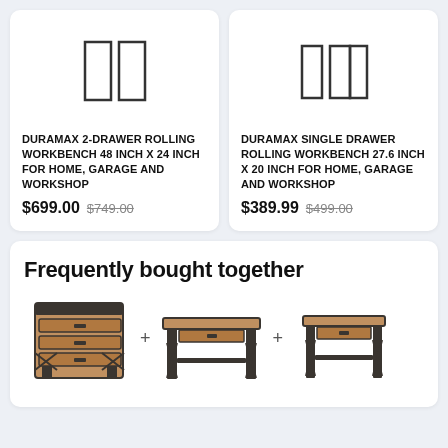[Figure (other): Product card for Duramax 2-drawer rolling workbench with placeholder icon of two rectangles]
DURAMAX 2-DRAWER ROLLING WORKBENCH 48 INCH X 24 INCH FOR HOME, GARAGE AND WORKSHOP
$699.00  $749.00
[Figure (other): Product card for Duramax single drawer rolling workbench with placeholder icon of three rectangles]
DURAMAX SINGLE DRAWER ROLLING WORKBENCH 27.6 INCH X 20 INCH FOR HOME, GARAGE AND WORKSHOP
$389.99  $499.00
Frequently bought together
[Figure (photo): Tall chest of drawers with X-brace legs, dark frame and wood-tone drawers]
[Figure (photo): Workbench table with single drawer, X-brace legs, and stretcher bar]
[Figure (photo): Smaller workbench with single drawer, X-brace legs, and stretcher bar]